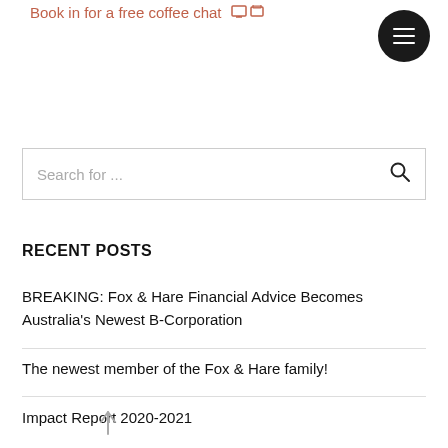Book in for a free coffee chat
Search for ...
RECENT POSTS
BREAKING: Fox & Hare Financial Advice Becomes Australia's Newest B-Corporation
The newest member of the Fox & Hare family!
Impact Report 2020-2021